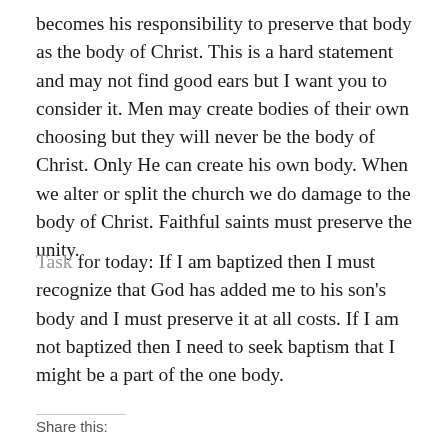becomes his responsibility to preserve that body as the body of Christ. This is a hard statement and may not find good ears but I want you to consider it. Men may create bodies of their own choosing but they will never be the body of Christ. Only He can create his own body. When we alter or split the church we do damage to the body of Christ. Faithful saints must preserve the unity.
Task for today: If I am baptized then I must recognize that God has added me to his son's body and I must preserve it at all costs. If I am not baptized then I need to seek baptism that I might be a part of the one body.
Share this: